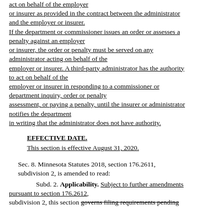act on behalf of the employer or insurer as provided in the contract between the administrator and the employer or insurer. If the department or commissioner issues an order or assesses a penalty against an employer or insurer, the order or penalty must be served on any administrator acting on behalf of the employer or insurer. A third-party administrator has the authority to act on behalf of the employer or insurer in responding to a commissioner or department inquiry, order or penalty assessment, or paying a penalty, until the insurer or administrator notifies the department in writing that the administrator does not have authority.
EFFECTIVE DATE.
This section is effective August 31, 2020.
Sec. 8. Minnesota Statutes 2018, section 176.2611, subdivision 2, is amended to read:
Subd. 2. Applicability. Subject to further amendments pursuant to section 176.2612, subdivision 2, this section governs filing requirements pending